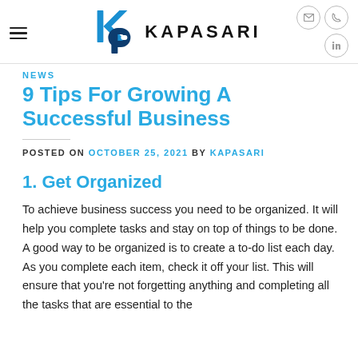KAPASARI
NEWS
9 Tips For Growing A Successful Business
POSTED ON OCTOBER 25, 2021 BY KAPASARI
1. Get Organized
To achieve business success you need to be organized. It will help you complete tasks and stay on top of things to be done. A good way to be organized is to create a to-do list each day. As you complete each item, check it off your list. This will ensure that you're not forgetting anything and completing all the tasks that are essential to the